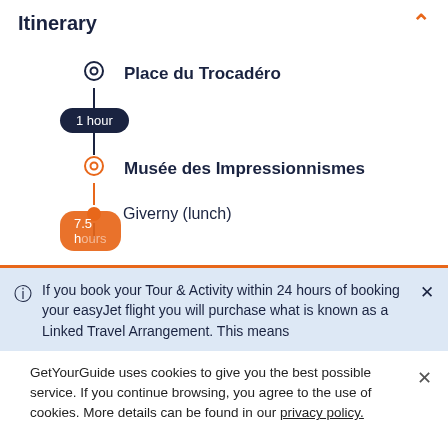Itinerary
Place du Trocadéro
1 hour
Musée des Impressionnismes
Giverny (lunch)
7.5 hours
If you book your Tour & Activity within 24 hours of booking your easyJet flight you will purchase what is known as a Linked Travel Arrangement. This means
GetYourGuide uses cookies to give you the best possible service. If you continue browsing, you agree to the use of cookies. More details can be found in our privacy policy.